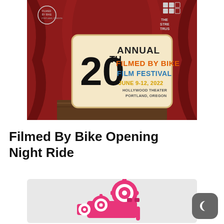[Figure (illustration): Promotional poster for the 20th Annual Filmed By Bike Film Festival, June 9-12, 2022, Hollywood Theater, Portland, Oregon. Red theater curtains in background with a marquee sign.]
Filmed By Bike Opening Night Ride
[Figure (logo): Pink/hot pink Filmed By Bike logo illustration — a vintage film camera stylized as bicycle gears/cogs, on a light gray background.]